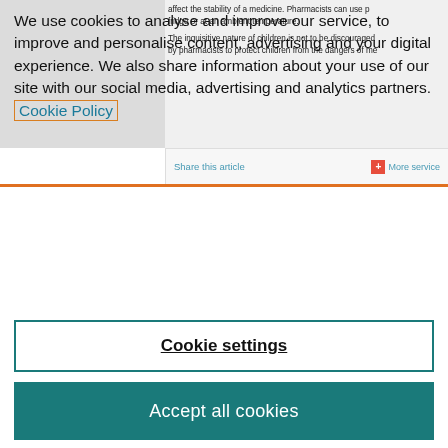affect the stability of a medicine. Pharmacists can use p fridge or at an ambient temperature. The inquisitive nature of children is not to be discouraged by pharmacists to protect children from the dangers of me
Share this article
More service
We use cookies to analyse and improve our service, to improve and personalise content, advertising and your digital experience. We also share information about your use of our site with our social media, advertising and analytics partners. Cookie Policy
Cookie settings
Accept all cookies